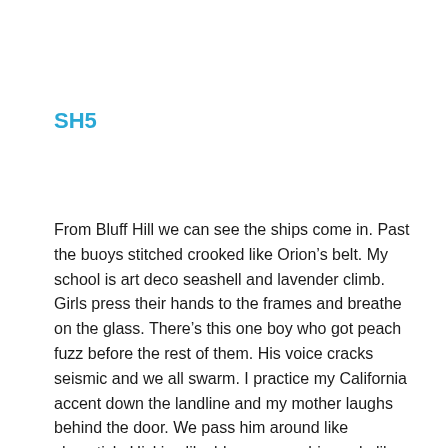SH5
From Bluff Hill we can see the ships come in. Past the buoys stitched crooked like Orion’s belt. My school is art deco seashell and lavender climb. Girls press their hands to the frames and breathe on the glass. There’s this one boy who got peach fuzz before the rest of them. His voice cracks seismic and we all swarm. I practice my California accent down the landline and my mother laughs behind the door. We pass him around like chapstick. Hickies like blossoms on his neck, like rose-purple flags planted behind pine trees and beach grass. There are socials. Socials with glow sticks and apple juice in cardboard cartons. We all look at him. We look